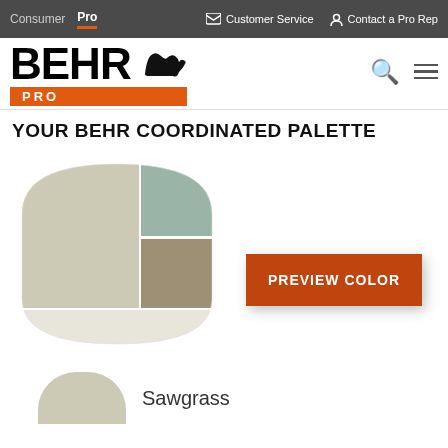Consumer  Pro    Customer Service    Contact a Pro Rep
[Figure (logo): BEHR PRO logo with bear silhouette, search icon, and hamburger menu]
YOUR BEHR COORDINATED PALETTE
[Figure (illustration): Paint chip palette showing four coordinated colors: large warm gray-beige on left, sage green upper right, taupe lower right, and light off-white bottom strip forming a paint chip shape]
PREVIEW COLOR
Sawgrass